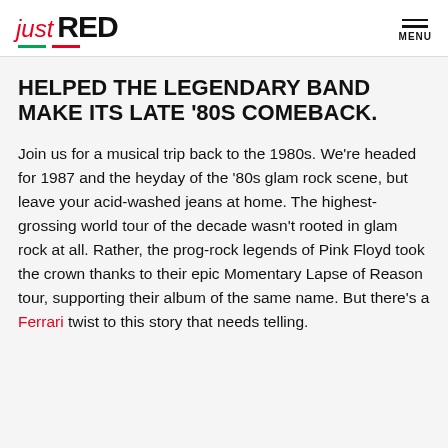just RED | MENU
HELPED THE LEGENDARY BAND MAKE ITS LATE '80S COMEBACK.
Join us for a musical trip back to the 1980s. We're headed for 1987 and the heyday of the '80s glam rock scene, but leave your acid-washed jeans at home. The highest-grossing world tour of the decade wasn't rooted in glam rock at all. Rather, the prog-rock legends of Pink Floyd took the crown thanks to their epic Momentary Lapse of Reason tour, supporting their album of the same name. But there's a Ferrari twist to this story that needs telling.